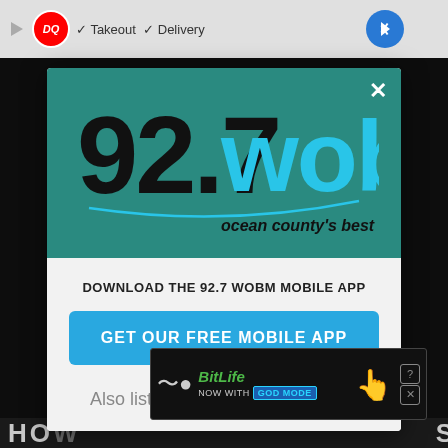[Figure (screenshot): Browser top bar showing Dairy Queen ad with Takeout and Delivery checkmarks]
[Figure (logo): 92.7 WOBM radio station logo with tagline 'ocean county's best variety' on teal background]
DOWNLOAD THE 92.7 WOBM MOBILE APP
GET OUR FREE MOBILE APP
Also listen on:  amazon alexa
[Figure (screenshot): BitLife advertisement banner: 'NOW WITH GOD MODE']
HOW